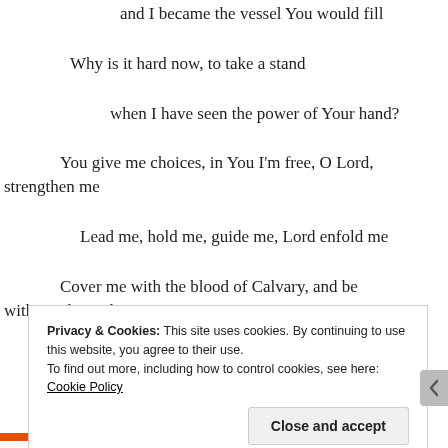and I became the vessel You would fill
Why is it hard now, to take a stand
when I have seen the power of Your hand?
You give me choices, in You I'm free, O Lord, strengthen me
Lead me, hold me, guide me, Lord enfold me
Cover me with the blood of Calvary, and be with me, be with me
Privacy & Cookies: This site uses cookies. By continuing to use this website, you agree to their use. To find out more, including how to control cookies, see here: Cookie Policy
Close and accept